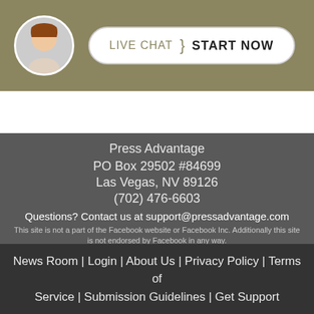[Figure (infographic): Live chat banner with a woman avatar and a button reading LIVE CHAT | START NOW on an olive/tan background]
Press Advantage
PO Box 29502 #84699
Las Vegas, NV 89126
(702) 476-6603
Questions? Contact us at support@pressadvantage.com
This site is not a part of the Facebook website or Facebook Inc. Additionally this site is not endorsed by Facebook in any way.
Facebook is a trademark of Facebook, Inc
News Room | Login | About Us | Privacy Policy | Terms of Service | Submission Guidelines | Get Support